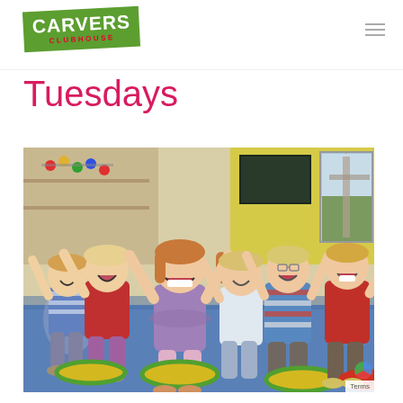Carvers Clubhouse
Tuesdays
[Figure (photo): Group of six young children (approximately 4-6 years old) sitting on colorful round cushions on a blue floor in a classroom setting, all smiling and laughing with arms raised. The children are wearing colorful clothing. The background shows a bright classroom with yellow walls, a blackboard, and educational materials.]